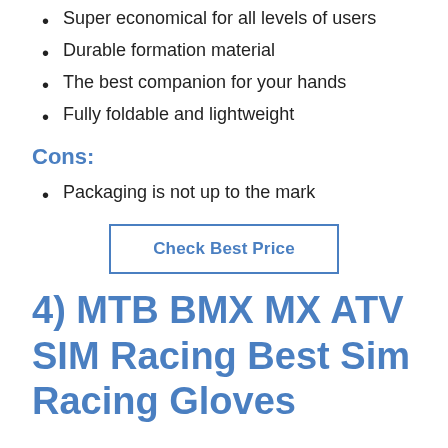Super economical for all levels of users
Durable formation material
The best companion for your hands
Fully foldable and lightweight
Cons:
Packaging is not up to the mark
Check Best Price
4) MTB BMX MX ATV SIM Racing Best Sim Racing Gloves